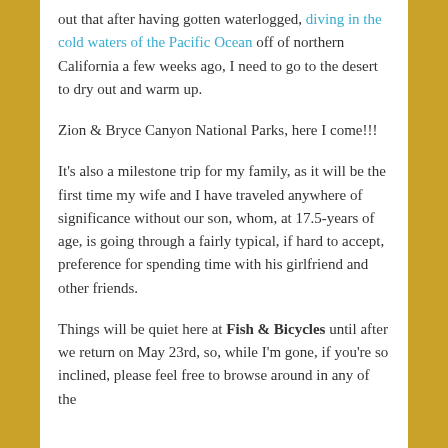out that after having gotten waterlogged, diving in the cold waters of the Pacific Ocean off of northern California a few weeks ago, I need to go to the desert to dry out and warm up.
Zion & Bryce Canyon National Parks, here I come!!!
It's also a milestone trip for my family, as it will be the first time my wife and I have traveled anywhere of significance without our son, whom, at 17.5-years of age, is going through a fairly typical, if hard to accept, preference for spending time with his girlfriend and other friends.
Things will be quiet here at Fish & Bicycles until after we return on May 23rd, so, while I'm gone, if you're so inclined, please feel free to browse around in any of the